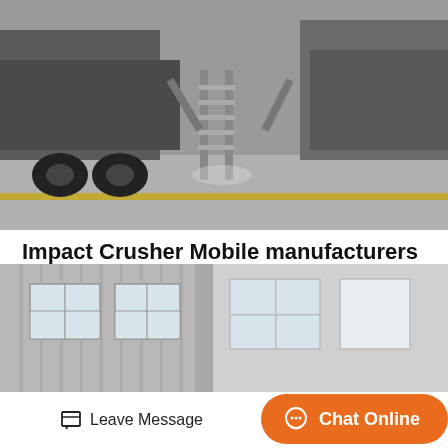[Figure (photo): Black and white photo of heavy industrial machinery (truck/crusher equipment) on a concrete floor, with a metal ladder/staircase visible in the center]
Impact Crusher Mobile manufacturers ... - Made-in
Sourcing Guide for Impact Crusher Mobile: China manufacturing industries are full of strong and consistent exporters. We are here to bring together China factories that supply man
Get Price
[Figure (photo): Photo of an industrial building exterior with metal siding and windows, shot from outside looking at the facade]
Leave Message
Chat Online